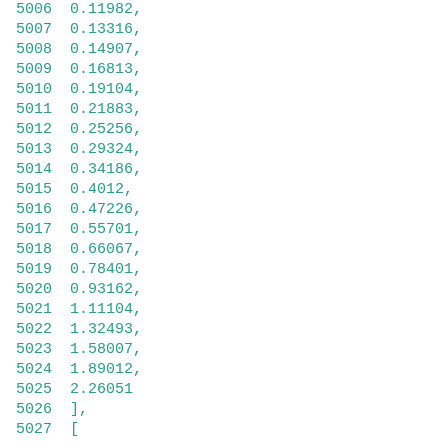5006    0.11982,
5007    0.13316,
5008    0.14907,
5009    0.16813,
5010    0.19104,
5011    0.21883,
5012    0.25256,
5013    0.29324,
5014    0.34186,
5015    0.4012,
5016    0.47226,
5017    0.55701,
5018    0.66067,
5019    0.78401,
5020    0.93162,
5021    1.11104,
5022    1.32493,
5023    1.58007,
5024    1.89012,
5025    2.26051
5026    ],
5027    [